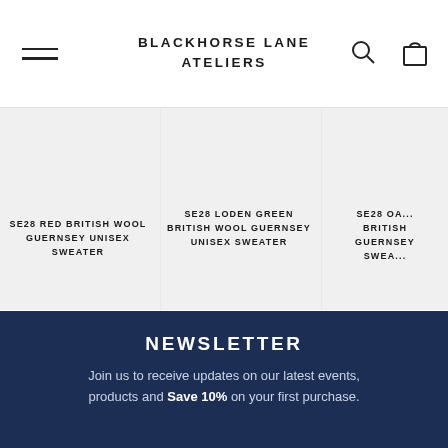BLACKHORSE LANE ATELIERS
SE28 RED BRITISH WOOL GUERNSEY UNISEX SWEATER
SE28 LODEN GREEN BRITISH WOOL GUERNSEY UNISEX SWEATER
SE28 OA... BRITISH GUERNSEY SWEA...
NEWSLETTER
Join us to receive updates on our latest events, products and Save 10% on your first purchase.